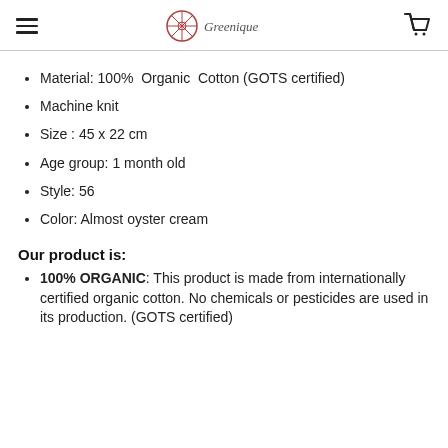Greenique (logo)
Material: 100%  Organic  Cotton (GOTS certified)
Machine knit
Size : 45 x 22 cm
Age group: 1 month old
Style: 56
Color: Almost oyster cream
Our product is:
100% ORGANIC: This product is made from internationally certified organic cotton. No chemicals or pesticides are used in its production. (GOTS certified)